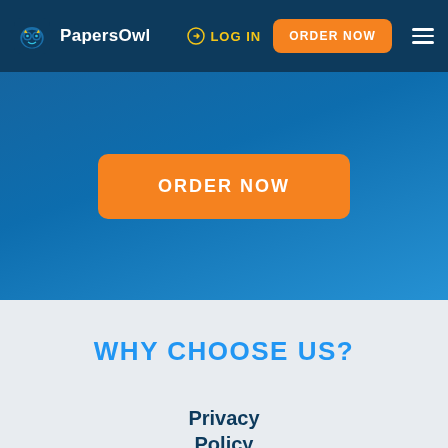PapersOwl | LOG IN | ORDER NOW
[Figure (screenshot): Orange ORDER NOW button on a blue gradient hero background]
WHY CHOOSE US?
Privacy Policy